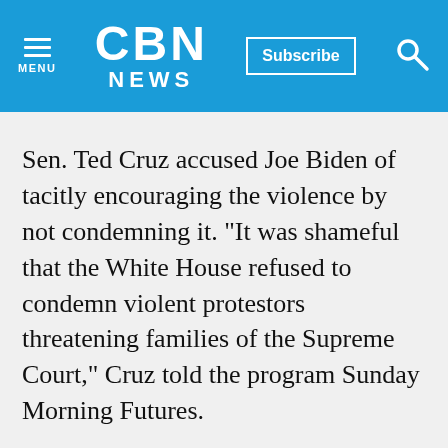CBN NEWS
Sen. Ted Cruz accused Joe Biden of tacitly encouraging the violence by not condemning it. "It was shameful that the White House refused to condemn violent protestors threatening families of the Supreme Court," Cruz told the program Sunday Morning Futures.